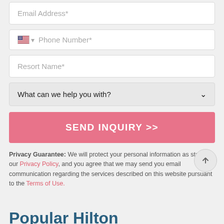Email Address*
Phone Number*
Resort Name*
What can we help you with?
SEND INQUIRY >>
Privacy Guarantee: We will protect your personal information as stated in our Privacy Policy, and you agree that we may send you email communication regarding the services described on this website pursuant to the Terms of Use.
Popular Hilton